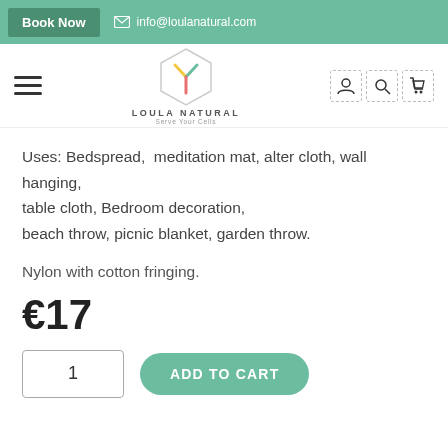Book Now  info@loulanatural.com
[Figure (logo): Loula Natural logo with hexagon shape and Y-shaped plant graphic. Text: LOULA NATURAL, Serve Your Cells]
Uses: Bedspread, meditation mat, alter cloth, wall hanging, table cloth, Bedroom decoration, beach throw, picnic blanket, garden throw.
Nylon with cotton fringing.
€17
1  ADD TO CART